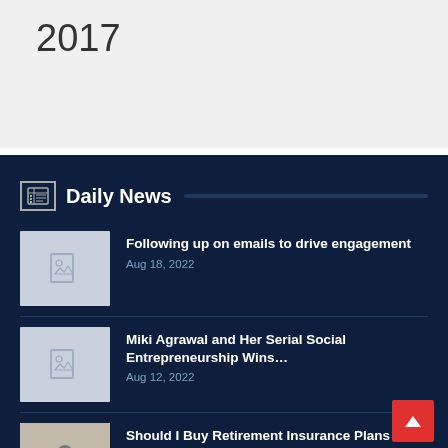2017
Daily News
Following up on emails to drive engagement — Aug 18, 2022
Miki Agrawal and Her Serial Social Entrepreneurship Wins… — Aug 12, 2022
Should I Buy Retirement Insurance Plans via Online or… — Jul 29, 2022